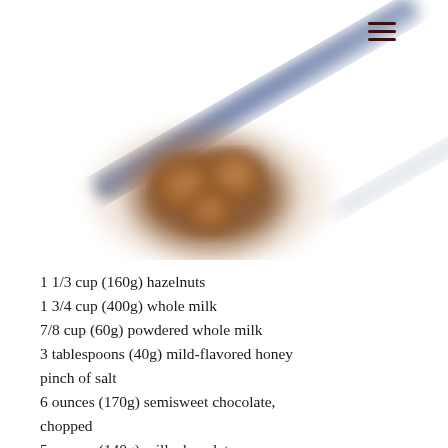[Figure (photo): Blurry photo of a chocolate-covered spoon with hazelnuts, diagonal composition on white background]
1 1/3 cup (160g) hazelnuts
1 3/4 cup (400g) whole milk
7/8 cup (60g) powdered whole milk
3 tablespoons (40g) mild-flavored honey
pinch of salt
6 ounces (170g) semisweet chocolate, chopped
5 ounces (140g) milk chocolate